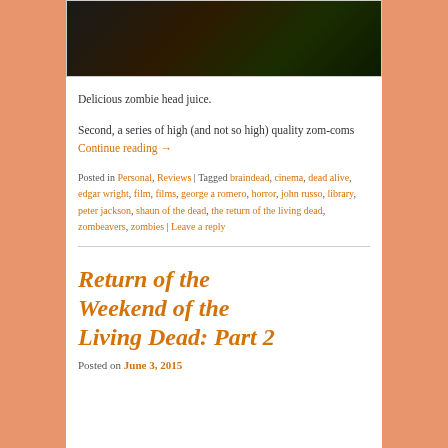[Figure (photo): Dark zombie-themed image at top of blog post]
Delicious zombie head juice.
Second, a series of high (and not so high) quality zom-coms Continue reading →
Posted in Personal, Reviews | Tagged braindead, cinema, dead alive, edgar wright, film, films, george a romero, horror, john russo, library, peter jackson, shaun of the dead, the return of the living dead, zombeavers, zombies | Leave a reply
Return of the Weekend of the Living Dead: Part 2
Posted on June 3, 2015